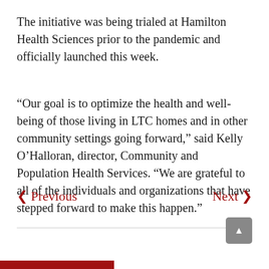The initiative was being trialed at Hamilton Health Sciences prior to the pandemic and officially launched this week.
“Our goal is to optimize the health and well-being of those living in LTC homes and in other community settings going forward,” said Kelly O’Halloran, director, Community and Population Health Services. “We are grateful to all of the individuals and organizations that have stepped forward to make this happen.”
< Previous   Next >